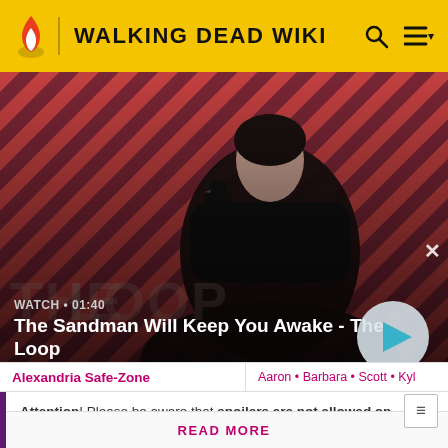WALKING DEAD WIKI
[Figure (screenshot): Hero promotional image: a man in black coat with a crow on his shoulder against red/dark diagonal striped background. Text overlay: WATCH • 01:40 / The Sandman Will Keep You Awake - The Loop. Play button circle on right.]
Alexandria Safe-Zone
Aaron • Barbara • Scott • Kyl
Attention! Please be aware that spoilers are not allowed on the wiki and a violation of this policy may result in a ban.
READ MORE